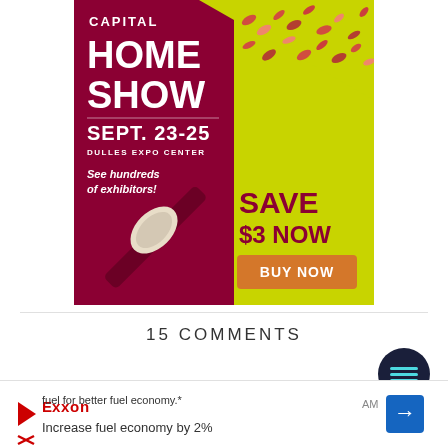[Figure (illustration): Capital Home Show advertisement banner. Red/maroon left side with white text: CAPITAL HOME SHOW, SEPT. 23-25, DULLES EXPO CENTER, See hundreds of exhibitors! Yellow-green right side with dark red text: SAVE $3 NOW, and an orange BUY NOW button. A paint brush with a decorative floral paint stroke diagonally across the banner.]
15 COMMENTS
[Figure (screenshot): Dark navy circular menu/hamburger button icon with teal horizontal lines]
Tenina
[Figure (screenshot): Bottom advertisement bar for Exxon: 'fuel for better fuel economy.*' and 'Increase fuel economy by 2%' with Exxon logo, navigation arrow diamond icon, and AM time stamp]